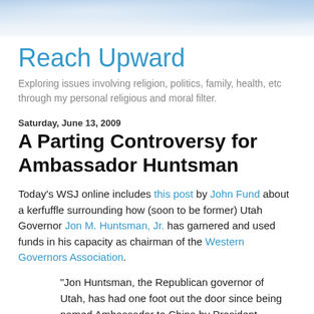[Figure (photo): Sky/clouds background header image with blue and white tones]
Reach Upward
Exploring issues involving religion, politics, family, health, etc through my personal religious and moral filter.
Saturday, June 13, 2009
A Parting Controversy for Ambassador Huntsman
Today's WSJ online includes this post by John Fund about a kerfuffle surrounding how (soon to be former) Utah Governor Jon M. Huntsman, Jr. has garnered and used funds in his capacity as chairman of the Western Governors Association.
“Jon Huntsman, the Republican governor of Utah, has had one foot out the door since being named Ambassador to China by President Obama. But he will still be chair of the Western Governors Association when it holds its annual